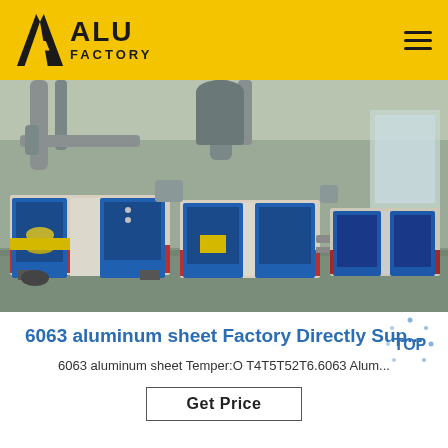ALU FACTORY
[Figure (photo): Factory interior showing aluminum sheet processing machines with blue and red frames, yellow sheets, industrial pipes and ventilation ducts in the background, concrete floor]
6063 aluminum sheet Factory Directly Sup...
6063 aluminum sheet Temper:O T4T5T52T6.6063 Alum...
Get Price